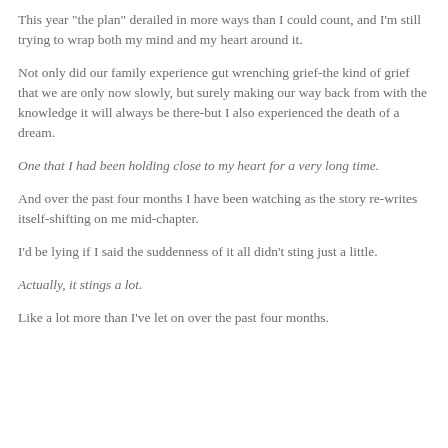This year "the plan" derailed in more ways than I could count, and I'm still trying to wrap both my mind and my heart around it.
Not only did our family experience gut wrenching grief-the kind of grief that we are only now slowly, but surely making our way back from with the knowledge it will always be there-but I also experienced the death of a dream.
One that I had been holding close to my heart for a very long time.
And over the past four months I have been watching as the story re-writes itself-shifting on me mid-chapter.
I'd be lying if I said the suddenness of it all didn't sting just a little.
Actually, it stings a lot.
Like a lot more than I've let on over the past four months.